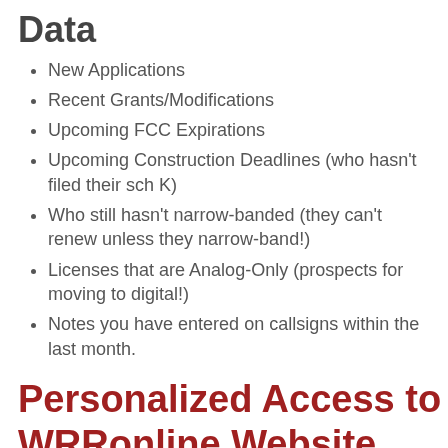Data
New Applications
Recent Grants/Modifications
Upcoming FCC Expirations
Upcoming Construction Deadlines (who hasn't filed their sch K)
Who still hasn't narrow-banded (they can't renew unless they narrow-band!)
Licenses that are Analog-Only (prospects for moving to digital!)
Notes you have entered on callsigns within the last month.
Personalized Access to WRRonline Website
Our cloud-based web service allows subscribers to Find